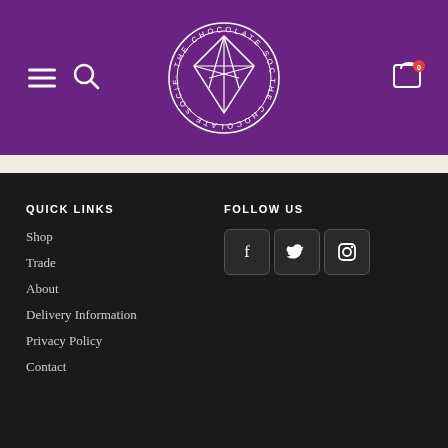[Figure (logo): The Chocolate Society circular logo with geometric star/diamond design in white on purple background, with text 'THE CHOCOLATE SOCIETY' around the circle]
QUICK LINKS
Shop
Trade
About
Delivery Information
Privacy Policy
Contact
FOLLOW US
[Figure (infographic): Social media icons for Facebook, Twitter, and Instagram in dark rounded square buttons]